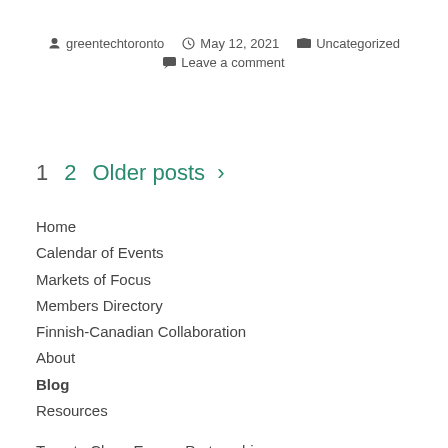greentechtoronto   May 12, 2021   Uncategorized   Leave a comment
1   2   Older posts >
Home
Calendar of Events
Markets of Focus
Members Directory
Finnish-Canadian Collaboration
About
Blog
Resources
Toronto Clean Energy Partnership